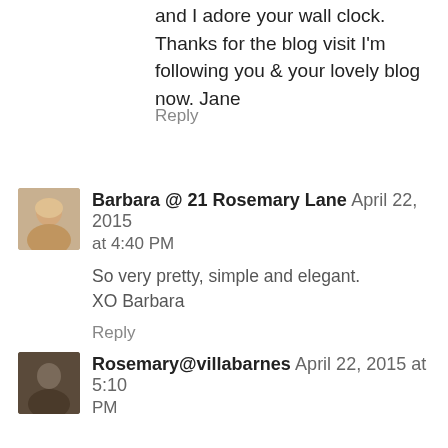and I adore your wall clock. Thanks for the blog visit I'm following you & your lovely blog now. Jane
Reply
Barbara @ 21 Rosemary Lane April 22, 2015 at 4:40 PM
So very pretty, simple and elegant.
XO Barbara
Reply
Rosemary@villabarnes April 22, 2015 at 5:10 PM